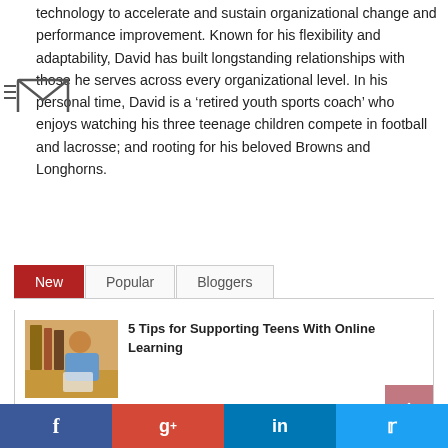technology to accelerate and sustain organizational change and performance improvement. Known for his flexibility and adaptability, David has built longstanding relationships with those he serves across every organizational level. In his personal time, David is a ‘retired youth sports coach’ who enjoys watching his three teenage children compete in football and lacrosse; and rooting for his beloved Browns and Longhorns.
[Figure (other): Email/envelope icon with motion lines on the left side]
New  Popular  Bloggers
5 Tips for Supporting Teens With Online Learning
[Figure (photo): Teen girl studying with a book, warm library background]
The Rising: Staying Focused and Hopeful